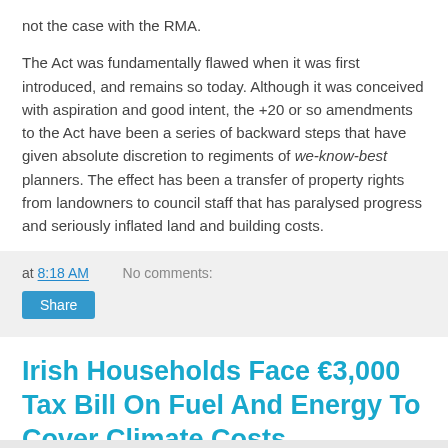not the case with the RMA.
The Act was fundamentally flawed when it was first introduced, and remains so today. Although it was conceived with aspiration and good intent, the +20 or so amendments to the Act have been a series of backward steps that have given absolute discretion to regiments of we-know-best planners. The effect has been a transfer of property rights from landowners to council staff that has paralysed progress and seriously inflated land and building costs.
at 8:18 AM   No comments:
Share
Irish Households Face €3,000 Tax Bill On Fuel And Energy To Cover Climate Costs